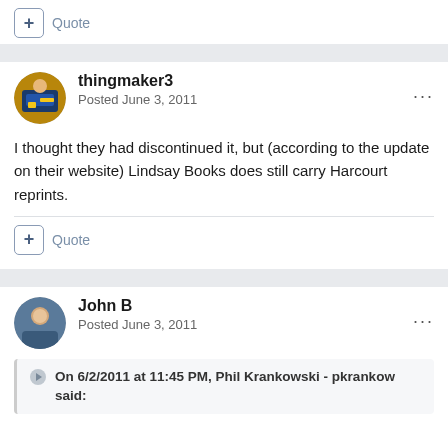Quote
thingmaker3
Posted June 3, 2011
I thought they had discontinued it, but (according to the update on their website) Lindsay Books does still carry Harcourt reprints.
Quote
John B
Posted June 3, 2011
On 6/2/2011 at 11:45 PM, Phil Krankowski - pkrankow said: